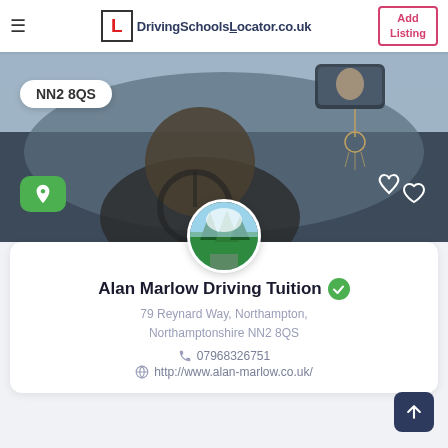DrivingSchoolsLocator.co.uk | Add Listing
[Figure (photo): Hero banner showing interior view of a car from the back seat, driver visible, rearview mirror with dreamcatcher hanging, blurred road scene outside. Postcode badge NN2 8QS, green location pin button, and heart icon overlaid.]
[Figure (photo): Circular profile avatar showing a forest/nature scene with trees and sky]
Alan Marlow Driving Tuition
79 Reynard Way, Northampton, Northamptonshire NN2 8QS
07968326751
http://www.alan-marlow.co.uk/